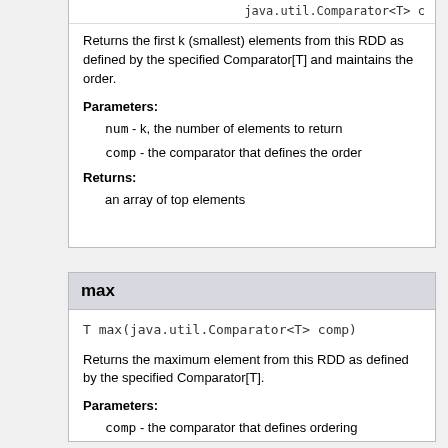java.util.Comparator<T> c
Returns the first k (smallest) elements from this RDD as defined by the specified Comparator[T] and maintains the order.
Parameters:
num - k, the number of elements to return
comp - the comparator that defines the order
Returns:
an array of top elements
max
T max(java.util.Comparator<T> comp)
Returns the maximum element from this RDD as defined by the specified Comparator[T].
Parameters:
comp - the comparator that defines ordering
Returns:
the maximum of the RDD